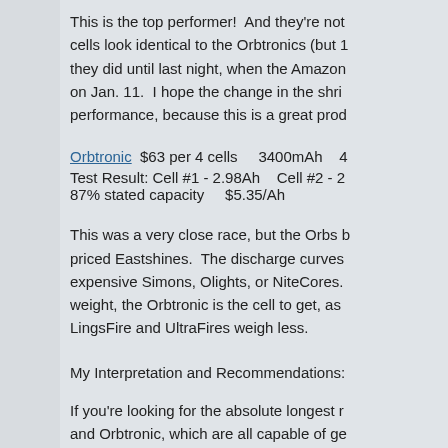This is the top performer!  And they're not cells look identical to the Orbtronics (but 1 they did until last night, when the Amazon on Jan. 11.  I hope the change in the shri performance, because this is a great prod
Orbtronic  $63 per 4 cells    3400mAh   4
Test Result: Cell #1 - 2.98Ah    Cell #2 - 2 87% stated capacity    $5.35/Ah
This was a very close race, but the Orbs b priced Eastshines.  The discharge curves expensive Simons, Olights, or NiteCores. weight, the Orbtronic is the cell to get, as LingsFire and UltraFires weigh less.
My Interpretation and Recommendations:
If you're looking for the absolute longest r and Orbtronic, which are all capable of ge run-time at 10W.  All three cost less than f are cheaper than Eastshine.  However, th